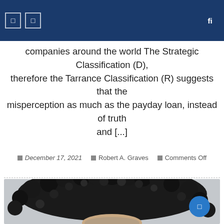companies around the world The Strategic Classification (D), therefore the Tarrance Classification (R) suggests that the misperception as much as the payday loan, instead of truth and [...]
December 17, 2021  Robert A. Graves  Comments Off
[Figure (photo): Close-up photo of a person with voluminous dark curly hair against a light grey background]